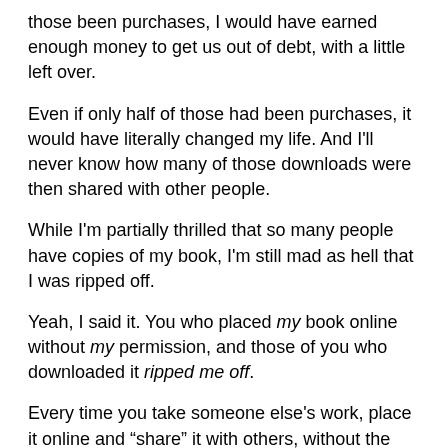those been purchases, I would have earned enough money to get us out of debt, with a little left over.
Even if only half of those had been purchases, it would have literally changed my life. And I'll never know how many of those downloads were then shared with other people.
While I'm partially thrilled that so many people have copies of my book, I'm still mad as hell that I was ripped off.
Yeah, I said it. You who placed my book online without my permission, and those of you who downloaded it ripped me off.
Every time you take someone else's work, place it online and "share" it with others, without the express consent of the copyright owner, you are stealing.
I know next to nothing about the RIAA or DCMA or whoever they are, I don't care who they are and what they do, I don't care if you're for them or against them, or feel like because of their policies you deserve to swap music and text files to